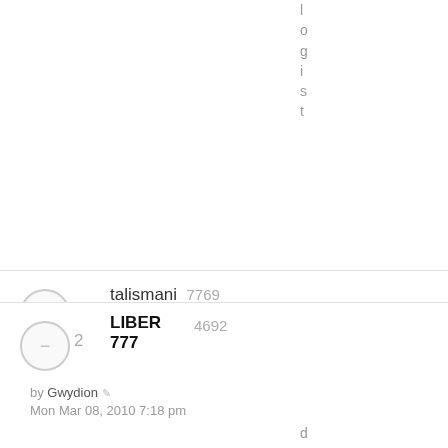l o g i s t
talismani 7769 by Ziggy Sun Apr 25, 2010 8:01 pm, bandо
LIBER 777 4692 by Gwydion Mon Mar 08, 2010 7:18 pm, demono